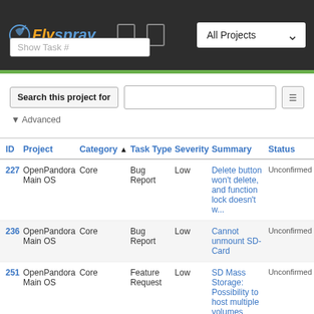Flyspray — All Projects
Show Task #
Search this project for | ▼ Advanced
| ID | Project | Category | Task Type | Severity | Summary | Status |
| --- | --- | --- | --- | --- | --- | --- |
| 227 | OpenPandora Main OS | Core | Bug Report | Low | Delete button won't delete, and function lock doesn't w... | Unconfirmed |
| 236 | OpenPandora Main OS | Core | Bug Report | Low | Cannot unmount SD-Card | Unconfirmed |
| 251 | OpenPandora Main OS | Core | Feature Request | Low | SD Mass Storage: Possibility to host multiple volumes | Unconfirmed |
|  | OpenPandora Main OS |  | Feature |  | Power management: If |  |